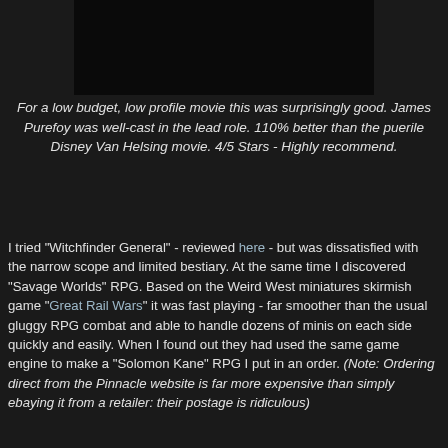[Figure (photo): Dark cinematic movie still at the top of the page, showing silhouetted figures on horseback in a dark forest scene, with a black band below it]
For a low budget, low profile movie this was surprisingly good.  James Purefoy was well-cast in the lead role.  110% better than the puerile Disney Van Helsing movie.  4/5 Stars - Highly recommend.
I tried "Witchfinder General" - reviewed here - but was dissatisfied with the narrow scope and limited bestiary.  At the same time I discovered "Savage Worlds" RPG. Based on the Weird West miniatures skirmish game "Great Rail Wars" it was fast playing - far smoother than the usual gluggy RPG combat and able to handle dozens of minis on each side quickly and easily.  When I found out they had used the same game engine to make a "Solomon Kane" RPG I put in an order. (Note: Ordering direct from the Pinnacle website is far more expensive than simply ebaying it from a retailer: their postage is ridiculous)